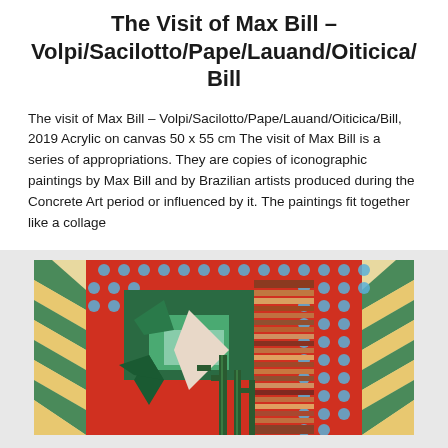The Visit of Max Bill – Volpi/Sacilotto/Pape/Lauand/Oiticica/Bill
The visit of Max Bill – Volpi/Sacilotto/Pape/Lauand/Oiticica/Bill, 2019 Acrylic on canvas 50 x 55 cm The visit of Max Bill is a series of appropriations. They are copies of iconographic paintings by Max Bill and by Brazilian artists produced during the Concrete Art period or influenced by it. The paintings fit together like a collage
[Figure (photo): Colorful geometric abstract painting combining elements of Concrete Art with zigzag patterns in green, yellow, and cream on the sides, a red background with blue circular dots pattern, geometric shapes including a star and rectangles in green, mint, and dark green tones in the center-left, striped horizontal bands in brown/orange/white on the right side, and cactus silhouettes on the lower right.]